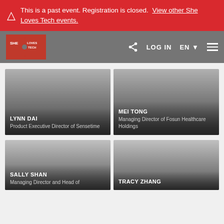⚠ This is a past event. Registration is closed. View other She Loves Tech events.
[Figure (screenshot): She Loves Tech navigation bar with logo, share icon, LOG IN, EN language selector, and hamburger menu]
LYNN DAI
Product Executive Director of Sensetime
MEI TONG
Managing Director of Fosun Healthcare Holdings
SALLY SHAN
Managing Director and Head of
TRACY ZHANG